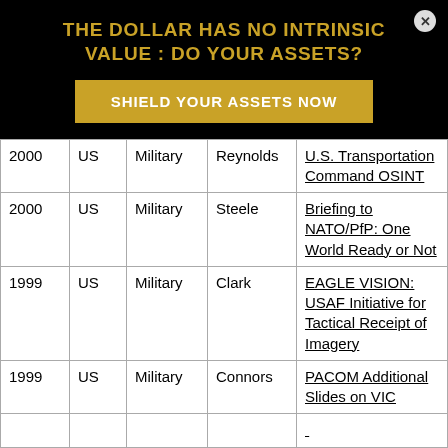THE DOLLAR HAS NO INTRINSIC VALUE : DO YOUR ASSETS?
SHIELD YOUR ASSETS NOW
| Year | Country | Type | Name | Title |
| --- | --- | --- | --- | --- |
| 2000 | US | Military | Reynolds | U.S. Transportation Command OSINT |
| 2000 | US | Military | Steele | Briefing to NATO/PfP: One World Ready or Not |
| 1999 | US | Military | Clark | EAGLE VISION: USAF Initiative for Tactical Receipt of Imagery |
| 1999 | US | Military | Connors | PACOM Additional Slides on VIC |